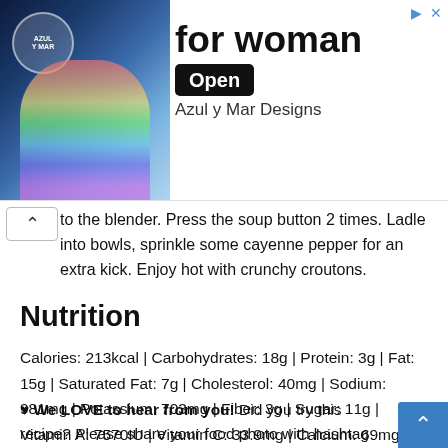[Figure (screenshot): Advertisement banner for Azul y Mar Designs showing 'for woman' text with an Open button and a colorful tie-dye/hair image on the left side]
to the blender. Press the soup button 2 times. Ladle into bowls, sprinkle some cayenne pepper for an extra kick. Enjoy hot with crunchy croutons.
Nutrition
Calories: 213kcal | Carbohydrates: 18g | Protein: 3g | Fat: 15g | Saturated Fat: 7g | Cholesterol: 40mg | Sodium: 981mg | Potassium: 703mg | Fiber: 3g | Sugar: 11g | Vitamin A: 7570IU | Vitamin C: 33.9mg | Calcium: 69mg | Iron: 1mg
♥ We LOVE to hear from you! Did you try this recipe? Please share your food photo with hashtag #ministryofcurry on Facebook or Instagram, so we can see it and our followers